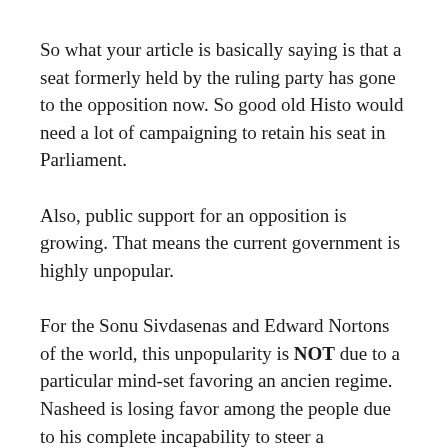So what your article is basically saying is that a seat formerly held by the ruling party has gone to the opposition now. So good old Histo would need a lot of campaigning to retain his seat in Parliament.
Also, public support for an opposition is growing. That means the current government is highly unpopular.
For the Sonu Sivdasenas and Edward Nortons of the world, this unpopularity is NOT due to a particular mind-set favoring an ancien regime. Nasheed is losing favor among the people due to his complete incapability to steer a government. Granted his government is beset by economic woes and an active opposition in comparison to Qayyooms. However most of the persons opposed to the MDP government are neither: